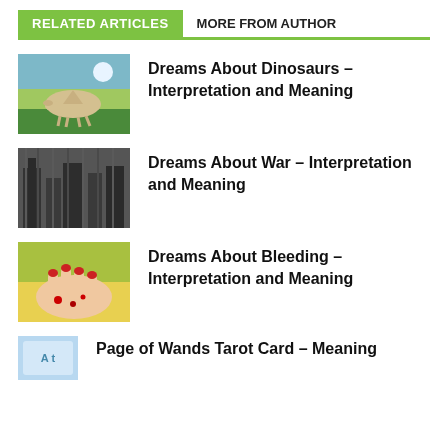RELATED ARTICLES | MORE FROM AUTHOR
[Figure (photo): Photo of a spinosaurus dinosaur outdoors]
Dreams About Dinosaurs – Interpretation and Meaning
[Figure (photo): Photo of a war-damaged city scene]
Dreams About War – Interpretation and Meaning
[Figure (photo): Close-up photo of bleeding hand with red nails]
Dreams About Bleeding – Interpretation and Meaning
[Figure (photo): Partially visible tarot card image]
Page of Wands Tarot Card – Meaning